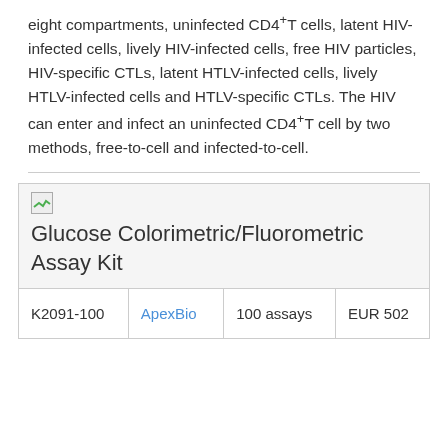eight compartments, uninfected CD4+T cells, latent HIV-infected cells, lively HIV-infected cells, free HIV particles, HIV-specific CTLs, latent HTLV-infected cells, lively HTLV-infected cells and HTLV-specific CTLs. The HIV can enter and infect an uninfected CD4+T cell by two methods, free-to-cell and infected-to-cell.
| Product | Supplier | Amount | Price |
| --- | --- | --- | --- |
| Glucose Colorimetric/Fluorometric Assay Kit |  |  |  |
| K2091-100 | ApexBio | 100 assays | EUR 502 |